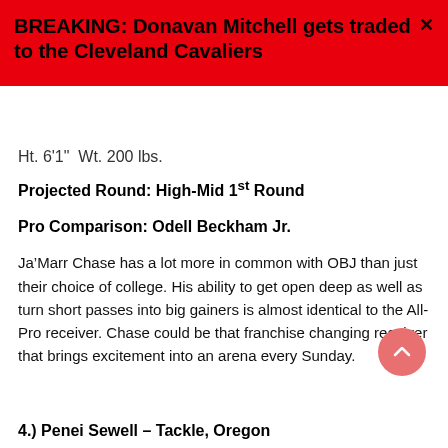BREAKING: Donavan Mitchell gets traded to the Cleveland Cavaliers
Ht. 6'1" Wt. 200 lbs.
Projected Round: High-Mid 1st Round
Pro Comparison: Odell Beckham Jr.
Ja’Marr Chase has a lot more in common with OBJ than just their choice of college. His ability to get open deep as well as turn short passes into big gainers is almost identical to the All-Pro receiver. Chase could be that franchise changing receiver that brings excitement into an arena every Sunday.
4.) Penei Sewell – Tackle, Oregon